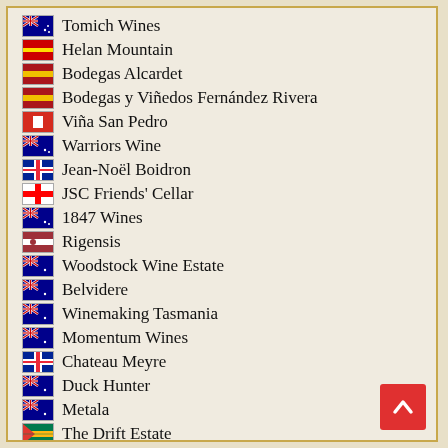Tomich Wines
Helan Mountain
Bodegas Alcardet
Bodegas y Viñedos Fernández Rivera
Viña San Pedro
Warriors Wine
Jean-Noël Boidron
JSC Friends' Cellar
1847 Wines
Rigensis
Woodstock Wine Estate
Belvidere
Winemaking Tasmania
Momentum Wines
Chateau Meyre
Duck Hunter
Metala
The Drift Estate
Deetlefs Wine
HirschRudel